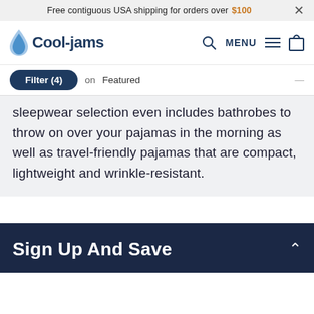Free contiguous USA shipping for orders over $100
[Figure (logo): Cool-jams logo with water drop icon and navigation bar showing search, MENU, and cart icons]
Filter (4) on Featured sleepwear selection even includes bathrobes to throw on over your pajamas in the morning as well as travel-friendly pajamas that are compact, lightweight and wrinkle-resistant.
Sign Up And Save